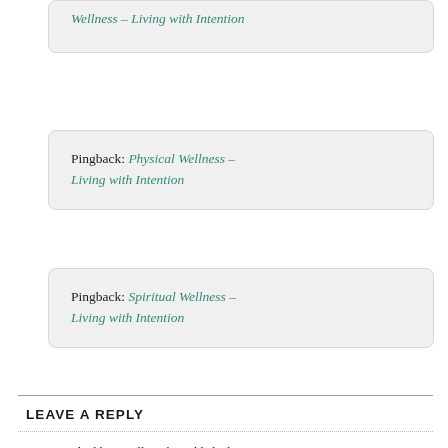Pingback: Wellness – Living with Intention
Pingback: Physical Wellness – Living with Intention
Pingback: Spiritual Wellness – Living with Intention
LEAVE A REPLY
Your email address will not be published. Required fields are marked *